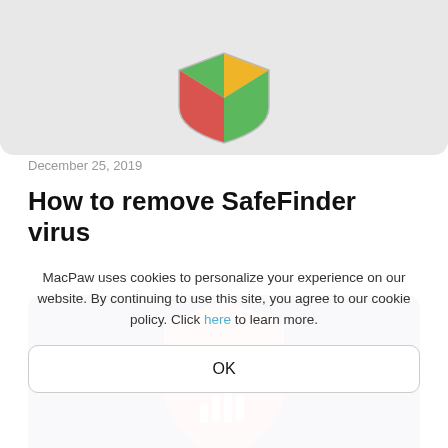[Figure (illustration): Partial top view of a shield icon with green, yellow, and red/orange segments on a light gray rounded card background, cropped at top.]
December 25, 2019
How to remove SafeFinder virus
[Figure (illustration): Bottom portion of page showing a dark purple/maroon rounded card with an orange-red shield icon with white hand/stop symbol, partially visible, cropped at bottom.]
MacPaw uses cookies to personalize your experience on our website. By continuing to use this site, you agree to our cookie policy. Click here to learn more.
OK